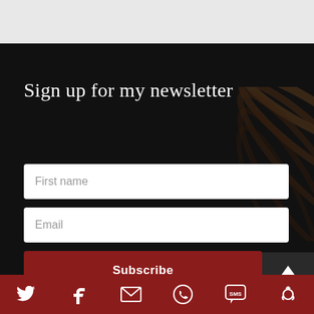Sign up for my newsletter
First name
Email
Subscribe
[Figure (other): Social sharing bar with Twitter, Facebook, Email, WhatsApp, SMS, and share icons on a dark red background]